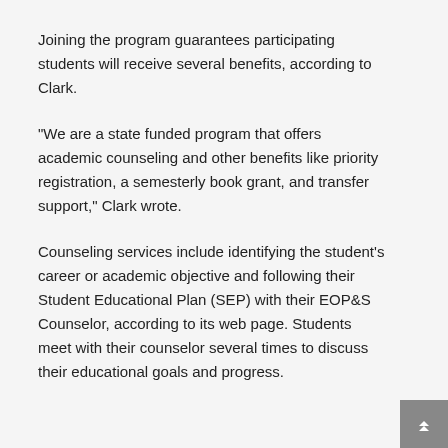Joining the program guarantees participating students will receive several benefits, according to Clark.
"We are a state funded program that offers academic counseling and other benefits like priority registration, a semesterly book grant, and transfer support," Clark wrote.
Counseling services include identifying the student's career or academic objective and following their Student Educational Plan (SEP) with their EOP&S Counselor, according to its web page. Students meet with their counselor several times to discuss their educational goals and progress.